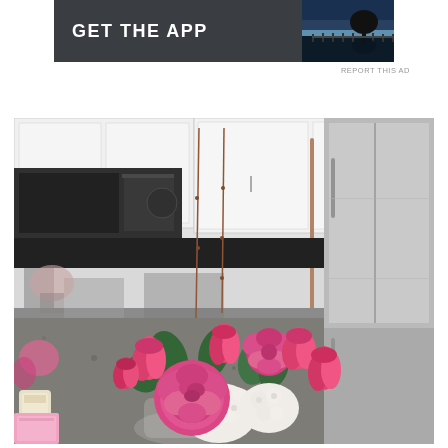[Figure (screenshot): Advertisement banner with dark gray background showing 'GET THE APP' text in white bold letters on the left, and a small landscape photo (tree silhouette against sunset/dusk sky reflected in water) on the right.]
REPORT THIS AD
[Figure (photo): A kitchen scene with white cabinets, stainless steel refrigerator and microwave, dark countertops. In the foreground is a flower arrangement in a glass vase containing pink peonies, pink tulips, and white hydrangeas with two tall thin decorative branches extending upward. A candle jar and book/card are visible on the left.]